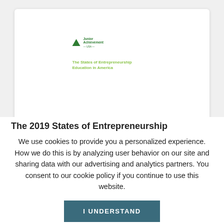[Figure (screenshot): Browser/webpage preview showing a document cover page with Junior Achievement logo and title 'The States of Entrepreneurship Education in America' on a white card, inside a rounded browser card on a gray background.]
The 2019 States of Entrepreneurship
We use cookies to provide you a personalized experience. How we do this is by analyzing user behavior on our site and sharing data with our advertising and analytics partners. You consent to our cookie policy if you continue to use this website.
I UNDERSTAND